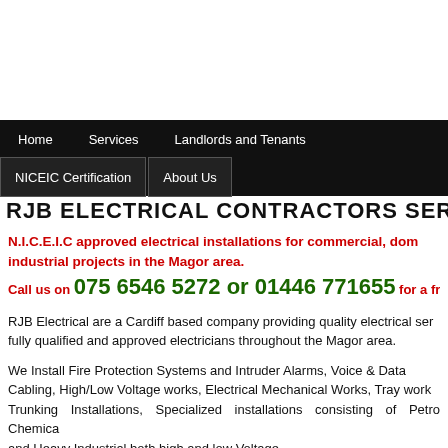Home | Services | Landlords and Tenants | NICEIC Certification | About Us
RJB ELECTRICAL CONTRACTORS SERVICES IN THE
N.I.C.E.I.C approved electrical installations for commercial, domestic and industrial projects in the Magor area.
Call us on 075 6546 5272 or 01446 771655 for a free
RJB Electrical are a Cardiff based company providing quality electrical services by fully qualified and approved electricians throughout the Magor area.
We Install Fire Protection Systems and Intruder Alarms, Voice & Data Cabling, High/Low Voltage works, Electrical Mechanical Works, Tray works, Trunking Installations, Specialized installations consisting of Petro Chemical and Heavy Industrial both high and low Voltage.